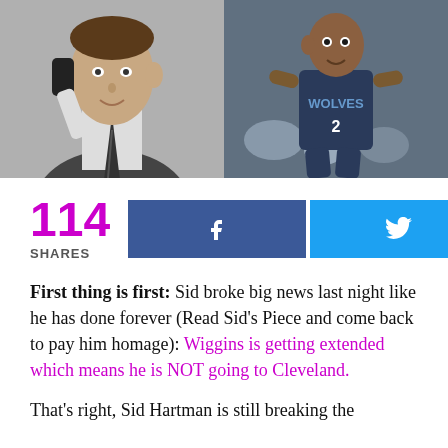[Figure (photo): Two side-by-side photos: left is a black-and-white photo of a man in a suit talking on a telephone; right is a color photo of a basketball player in a Timberwolves jersey running.]
114 SHARES
[Figure (infographic): Facebook share button (dark blue with f icon) and Twitter share button (cyan with bird icon)]
First thing is first: Sid broke big news last night like he has done forever (Read Sid’s Piece and come back to pay him homage): Wiggins is getting extended which means he is NOT going to Cleveland.
That’s right, Sid Hartman is still breaking the